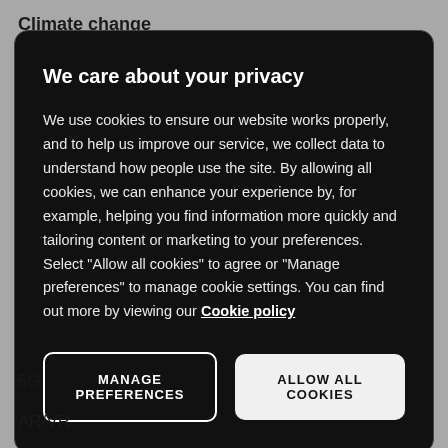Climate change
We care about your privacy
We use cookies to ensure our website works properly, and to help us improve our service, we collect data to understand how people use the site. By allowing all cookies, we can enhance your experience by, for example, helping you find information more quickly and tailoring content or marketing to your preferences. Select “Allow all cookies” to agree or “Manage preferences” to manage cookie settings. You can find out more by viewing our Cookie policy
MANAGE PREFERENCES
ALLOW ALL COOKIES
5G
AR/VR
Cloud computing